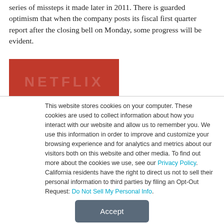series of missteps it made later in 2011. There is guarded optimism that when the company posts its fiscal first quarter report after the closing bell on Monday, some progress will be evident.
[Figure (photo): Netflix logo on red background with stylized NETFLIX text in white, partially visible]
This website stores cookies on your computer. These cookies are used to collect information about how you interact with our website and allow us to remember you. We use this information in order to improve and customize your browsing experience and for analytics and metrics about our visitors both on this website and other media. To find out more about the cookies we use, see our Privacy Policy. California residents have the right to direct us not to sell their personal information to third parties by filing an Opt-Out Request: Do Not Sell My Personal Info.
Accept